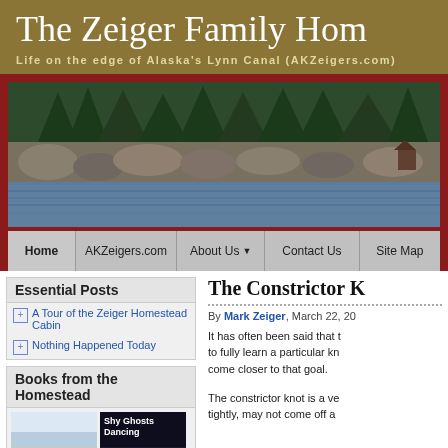The Zeiger Family Hom
Life on the edge of Alaska's Lynn Canal (AKZeigers.com)
[Figure (photo): Scenic photo of rocky shoreline with evergreen trees and calm water, partially cropped]
Home | AKZeigers.com | About Us | Contact Us | Site Map
Essential Posts
A Tour of the Zeiger Homestead Cabin
Nothing Happened Today
Books from the Homestead
[Figure (photo): Book covers: Sacred Coffee on the left (light blue sky cover) and Shy Ghosts Dancing on the right (dark cover)]
The Constrictor K
By Mark Zeiger, March 22, 20
It has often been said that to fully learn a particular kn come closer to that goal.
The constrictor knot is a ve tightly, may not come off a